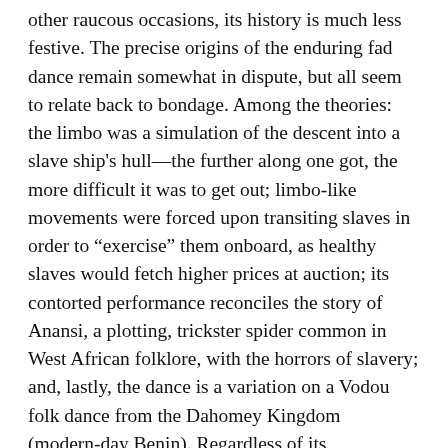other raucous occasions, its history is much less festive. The precise origins of the enduring fad dance remain somewhat in dispute, but all seem to relate back to bondage. Among the theories: the limbo was a simulation of the descent into a slave ship's hull—the further along one got, the more difficult it was to get out; limbo-like movements were forced upon transiting slaves in order to "exercise" them onboard, as healthy slaves would fetch higher prices at auction; its contorted performance reconciles the story of Anansi, a plotting, trickster spider common in West African folklore, with the horrors of slavery; and, lastly, the dance is a variation on a Vodou folk dance from the Dahomey Kingdom (modern-day Benin). Regardless of its beginnings, in the Western Hemisphere, limbo—which is also a West Indian slang term for "limber"—is believed to have been first observed at funerals in Trinidad. While